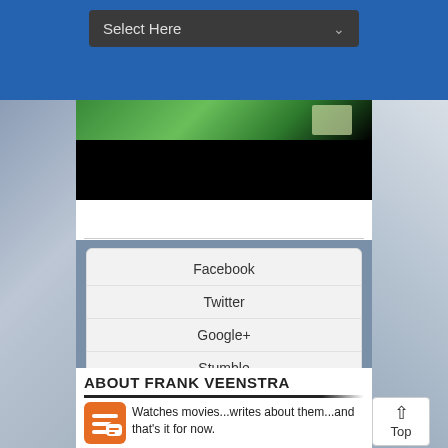[Figure (screenshot): A dropdown select bar with dark background reading 'Select Here' and a dropdown chevron icon]
[Figure (photo): A video thumbnail showing a partially dark frame with green-lit scene at top and black area below]
Facebook
Twitter
Google+
Stumble
Digg
ABOUT FRANK VEENSTRA
Watches movies...writes about them...and that's it for now.